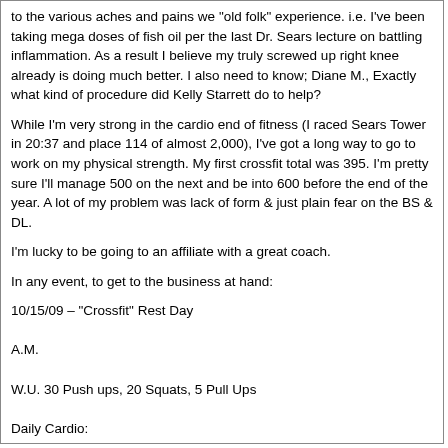to the various aches and pains we "old folk" experience. i.e. I've been taking mega doses of fish oil per the last Dr. Sears lecture on battling inflammation. As a result I believe my truly screwed up right knee already is doing much better. I also need to know; Diane M., Exactly what kind of procedure did Kelly Starrett do to help?
While I'm very strong in the cardio end of fitness (I raced Sears Tower in 20:37 and place 114 of almost 2,000), I've got a long way to go to work on my physical strength. My first crossfit total was 395. I'm pretty sure I'll manage 500 on the next and be into 600 before the end of the year. A lot of my problem was lack of form & just plain fear on the BS & DL.
I'm lucky to be going to an affiliate with a great coach.
In any event, to get to the business at hand:
10/15/09 – "Crossfit" Rest Day
A.M.
W.U. 30 Push ups, 20 Squats, 5 Pull Ups
Daily Cardio:
20 minutes of speed bag,
10 minutes jump rope.
1 mile on treadmill (7:30)
Lunch. (I'm very fortunate to have a fitness center where I work)
Inspired by John W's 7428 30 minute row yesterday:
30-minute row – 7245m (P.R. by 28m)
AWESOME row John!:notworth: